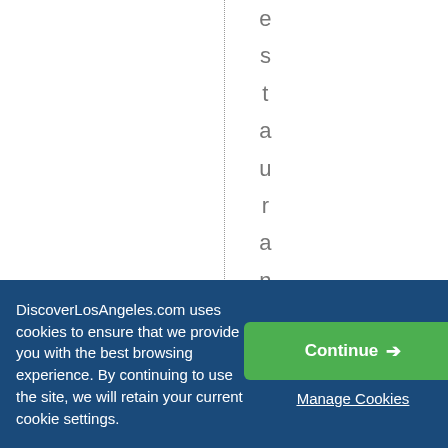estaurantsjusttha
DiscoverLosAngeles.com uses cookies to ensure that we provide you with the best browsing experience. By continuing to use the site, we will retain your current cookie settings.
Continue →
Manage Cookies